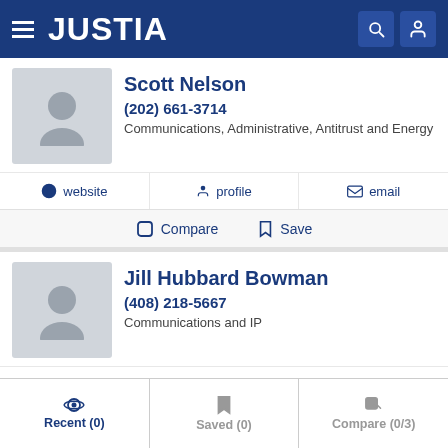JUSTIA
Scott Nelson
(202) 661-3714
Communications, Administrative, Antitrust and Energy
website   profile   email
Compare   Save
Jill Hubbard Bowman
(408) 218-5667
Communications and IP
profile
Recent (0)   Saved (0)   Compare (0/3)